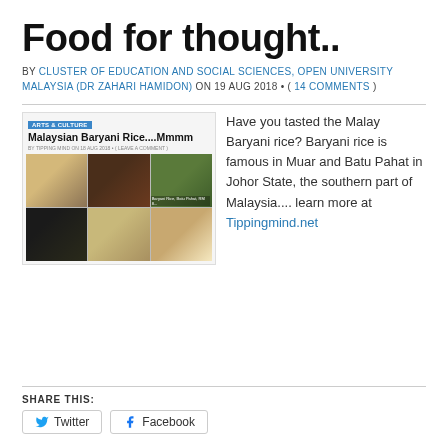Food for thought..
BY CLUSTER OF EDUCATION AND SOCIAL SCIENCES, OPEN UNIVERSITY MALAYSIA (DR ZAHARI HAMIDON) ON 19 AUG 2018 • ( 14 COMMENTS )
[Figure (screenshot): Screenshot of a blog post titled 'Malaysian Baryani Rice....Mmmm' with a 3x2 grid of food photos showing baryani rice dishes]
Have you tasted the Malay Baryani rice? Baryani rice is famous in Muar and Batu Pahat in Johor State, the southern part of Malaysia.... learn more at Tippingmind.net
SHARE THIS:
Twitter   Facebook